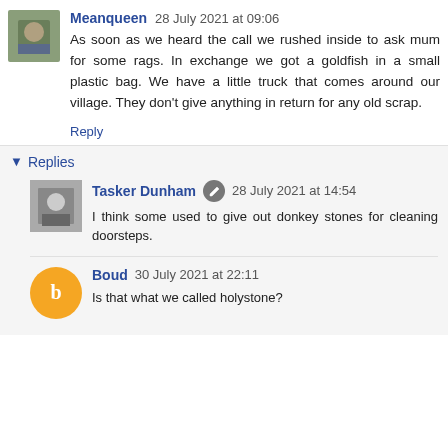Meanqueen 28 July 2021 at 09:06
As soon as we heard the call we rushed inside to ask mum for some rags. In exchange we got a goldfish in a small plastic bag. We have a little truck that comes around our village. They don't give anything in return for any old scrap.
Reply
Replies
Tasker Dunham 28 July 2021 at 14:54
I think some used to give out donkey stones for cleaning doorsteps.
Boud 30 July 2021 at 22:11
Is that what we called holystone?